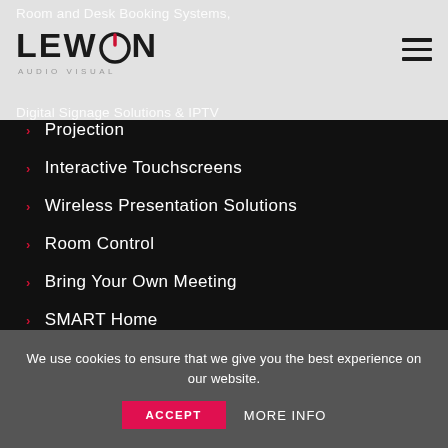Lewcon Audio Visual — Room and Desk Booking Systems, Digital Signage Solutions & IPTV
Projection
Interactive Touchscreens
Wireless Presentation Solutions
Room Control
Bring Your Own Meeting
SMART Home
We use cookies to ensure that we give you the best experience on our website.
ACCEPT   MORE INFO